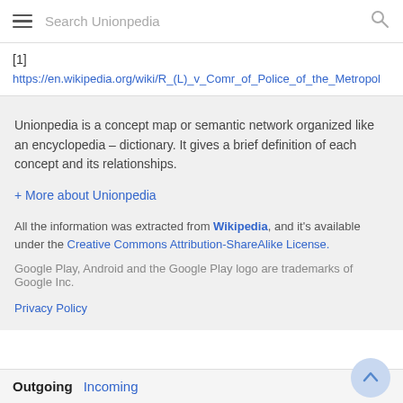Search Unionpedia
[1]
https://en.wikipedia.org/wiki/R_(L)_v_Comr_of_Police_of_the_Metropol
Unionpedia is a concept map or semantic network organized like an encyclopedia – dictionary. It gives a brief definition of each concept and its relationships.
+ More about Unionpedia
All the information was extracted from Wikipedia, and it's available under the Creative Commons Attribution-ShareAlike License.
Google Play, Android and the Google Play logo are trademarks of Google Inc.
Privacy Policy
Outgoing   Incoming